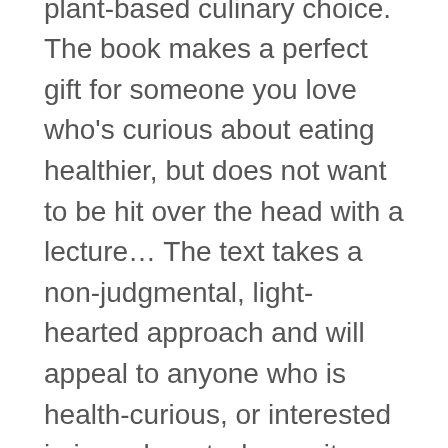personal philosophy behind plant-based culinary choice. The book makes a perfect gift for someone you love who's curious about eating healthier, but does not want to be hit over the head with a lecture… The text takes a non-judgmental, light-hearted approach and will appeal to anyone who is health-curious, or interested in inner beauty, longevity or weight loss. Cherry's un-processed un-refined snacks are tasty enough to satisfy even hard-core omnivores. They are accompanied with clear list of ingredients, short fast instructions and color photographs for every dish – with time-saving tips and techniques.
Lastly, in quintessential Cherry retro style, this cookbook is filled with fabulous fun fifties illustrations! And the Audible audio book is loaded